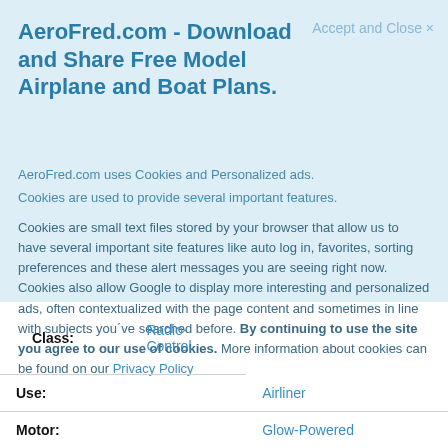AeroFred.com - Download and Share Free Model Airplane and Boat Plans.
Accept and Close ×
AeroFred.com uses Cookies and Personalized ads.
Cookies are used to provide several important features.
Cookies are small text files stored by your browser that allow us to have several important site features like auto log in, favorites, sorting preferences and these alert messages you are seeing right now. Cookies also allow Google to display more interesting and personalized ads, often contextualized with the page content and sometimes in line with subjects you've searched before. By continuing to use the site you agree to our use of cookies. More information about cookies can be found on our Privacy Policy
| Field | Value |
| --- | --- |
| Class: | Radio-Control |
| Use: | Airliner |
| Motor: | Glow-Powered |
| Wingspan: | 67 in. / 170.2 cm |
| Publisher: | Royal |
| Pub. Ref: | Plan 55 |